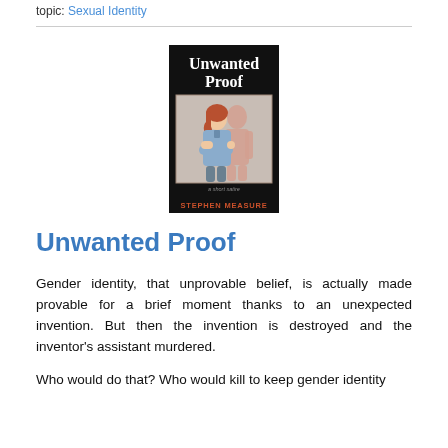topic: Sexual Identity
[Figure (illustration): Book cover for 'Unwanted Proof' by Stephen Measure. Black background with white serif title text at top. Center image shows a young woman with red hair and crossed arms in a light blue shirt, with a pinkish humanoid figure behind her. Subtitle 'a short satire' and author name 'STEPHEN MEASURE' at bottom in reddish text on black.]
Unwanted Proof
Gender identity, that unprovable belief, is actually made provable for a brief moment thanks to an unexpected invention. But then the invention is destroyed and the inventor's assistant murdered.
Who would do that? Who would kill to keep gender identity